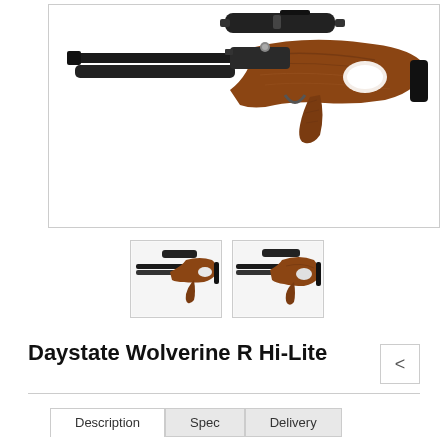[Figure (photo): Main product photo of Daystate Wolverine R Hi-Lite air rifle with wooden laminate stock and scope mounted on top, shown in profile view against white background]
[Figure (photo): Thumbnail 1: smaller version of Daystate Wolverine R Hi-Lite from left side angle]
[Figure (photo): Thumbnail 2: smaller version of Daystate Wolverine R Hi-Lite from right side angle]
Daystate Wolverine R Hi-Lite
Description | Spec | Delivery